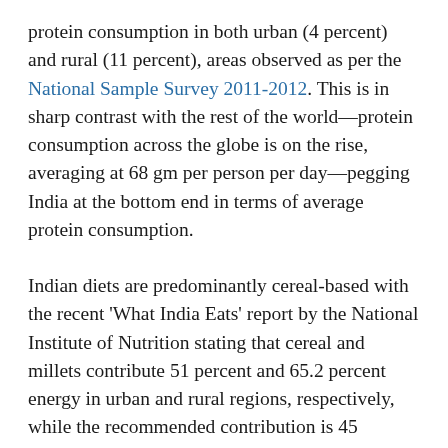protein consumption in both urban (4 percent) and rural (11 percent), areas observed as per the National Sample Survey 2011-2012. This is in sharp contrast with the rest of the world—protein consumption across the globe is on the rise, averaging at 68 gm per person per day—pegging India at the bottom end in terms of average protein consumption.
Indian diets are predominantly cereal-based with the recent 'What India Eats' report by the National Institute of Nutrition stating that cereal and millets contribute 51 percent and 65.2 percent energy in urban and rural regions, respectively, while the recommended contribution is 45 percent; while pulses, legumes, meat, poultry, and fish contribute a mere 11 percent of the total energy per day in urban and rural areas, as against the recommended